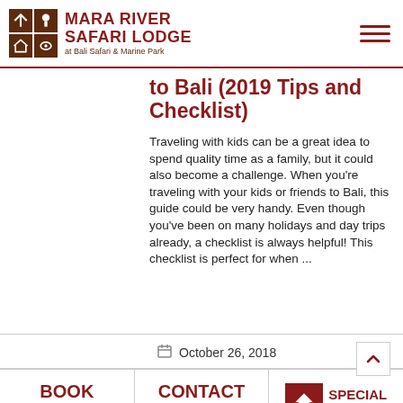MARA RIVER SAFARI LODGE at Bali Safari & Marine Park
to Bali (2019 Tips and Checklist)
Traveling with kids can be a great idea to spend quality time as a family, but it could also become a challenge. When you’re traveling with your kids or friends to Bali, this guide could be very handy. Even though you’ve been on many holidays and day trips already, a checklist is always helpful! This checklist is perfect for when ...
October 26, 2018
BOOK NOW | CONTACT US | SPECIAL OFFERS